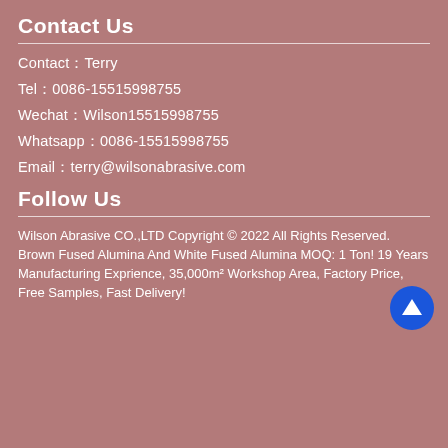Contact Us
Contact：Terry
Tel：0086-15515998755
Wechat：Wilson15515998755
Whatsapp：0086-15515998755
Email：terry@wilsonabrasive.com
Follow Us
Wilson Abrasive CO.,LTD Copyright © 2022 All Rights Reserved.
Brown Fused Alumina And White Fused Alumina MOQ: 1 Ton! 19 Years Manufacturing Exprience, 35,000m² Workshop Area, Factory Price, Free Samples, Fast Delivery!